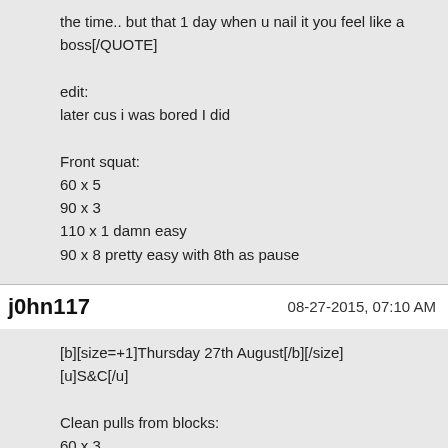the time.. but that 1 day when u nail it you feel like a boss[/QUOTE]

edit:
later cus i was bored I did

Front squat:
60 x 5
90 x 3
110 x 1 damn easy
90 x 8 pretty easy with 8th as pause
j0hn117   08-27-2015, 07:10 AM
[b][size=+1]Thursday 27th August[/b][/size]
[u]S&C[/u]

Clean pulls from blocks:
60 x 3
80 x 3
90 x 3
100 x 2
100 x 2

Front Squats: